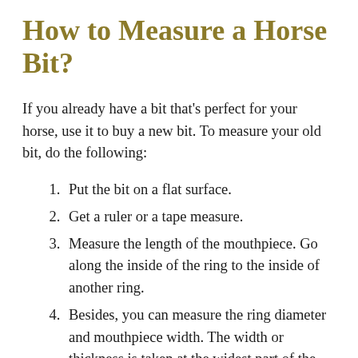How to Measure a Horse Bit?
If you already have a bit that's perfect for your horse, use it to buy a new bit. To measure your old bit, do the following:
Put the bit on a flat surface.
Get a ruler or a tape measure.
Measure the length of the mouthpiece. Go along the inside of the ring to the inside of another ring.
Besides, you can measure the ring diameter and mouthpiece width. The width or thickness is taken at the widest part of the bar. Bit sizes usually come in inches or centimeters. Measure in both metrics to